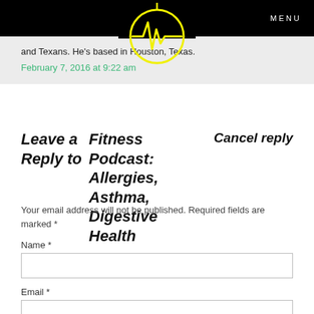MENU
[Figure (logo): Yellow circular compass/heartbeat logo on black background]
and Texans. He's based in Houston, Texas.
February 7, 2016 at 9:22 am
Leave a Reply to  Fitness Podcast: Allergies, Asthma, Digestive Health    Cancel reply
Your email address will not be published. Required fields are marked *
Name *
Email *
Website